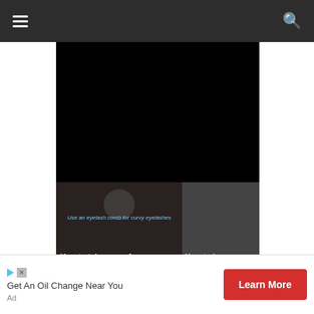Navigation bar with hamburger menu and search icon
[Figure (screenshot): Main video area - black/dark video player]
[Figure (screenshot): Two video thumbnails side by side: 'How to take care of y...' and 'How to kee...']
Use an eyelash comb for curvy eyelashes
How to take care of y...
How to kee
Benefits of manicure
So now we know how hot water affects gel nails and how you can
Get An Oil Change Near You
Learn More
Ad